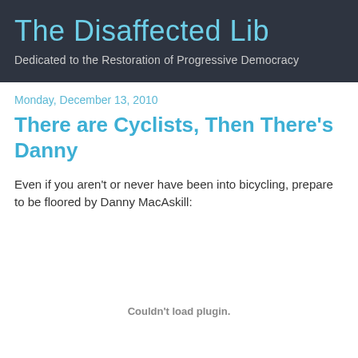The Disaffected Lib
Dedicated to the Restoration of Progressive Democracy
Monday, December 13, 2010
There are Cyclists, Then There's Danny
Even if you aren't or never have been into bicycling, prepare to be floored by Danny MacAskill:
Couldn't load plugin.